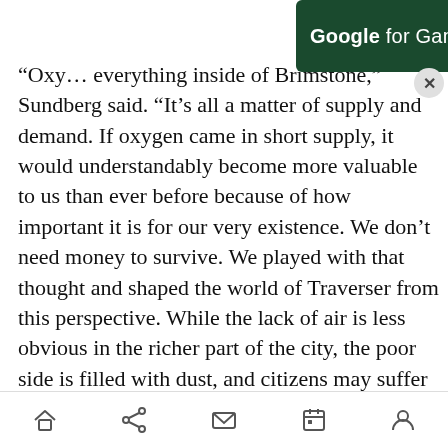[Figure (other): Google for Games advertisement banner with dark green background, white text reading 'Google for Games', and a yellow 'Read now' button. A circular close (X) button appears at the bottom right of the banner.]
“Oxy… everything inside of Brimstone,” Sundberg said. “It’s all a matter of supply and demand. If oxygen came in short supply, it would understandably become more valuable to us than ever before because of how important it is for our very existence. We don’t need money to survive. We played with that thought and shaped the world of Traverser from this perspective. While the lack of air is less obvious in the richer part of the city, the poor side is filled with dust, and citizens may suffer from oxygen deprivation. It results in some individuals being just a tad bit more crazy than others, which fits well with the game’s quirky
[Figure (other): Mobile browser bottom navigation bar with icons: home, share, mail/message, calendar/bookmark, and user/profile.]